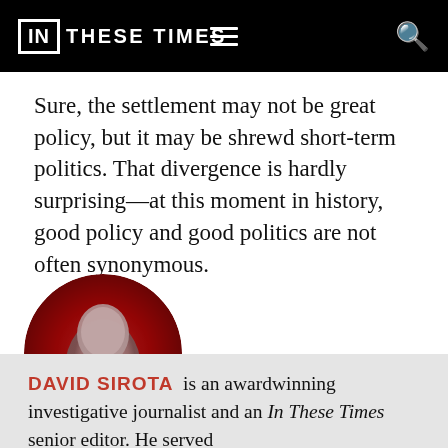IN THESE TIMES
Sure, the settlement may not be great policy, but it may be shrewd short-term politics. That divergence is hardly surprising—at this moment in history, good policy and good politics are not often synonymous.
[Figure (photo): Circular author headshot photo of David Sirota with red background gradient]
DAVID SIROTA is an awardwinning investigative journalist and an In These Times senior editor. He served